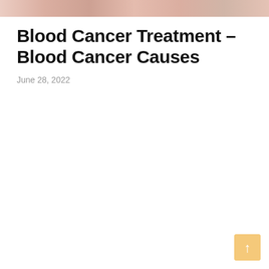[Figure (photo): Partial banner image showing blood cells or tissue, pink and red tones, cropped at top of page]
Blood Cancer Treatment – Blood Cancer Causes
June 28, 2022